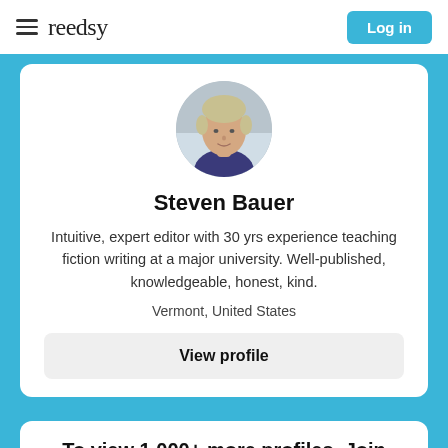reedsy  Log in
[Figure (photo): Circular profile photo of Steven Bauer, a middle-aged man with blond/grey hair wearing a dark shirt, against a light background.]
Steven Bauer
Intuitive, expert editor with 30 yrs experience teaching fiction writing at a major university. Well-published, knowledgeable, honest, kind.
Vermont, United States
View profile
To view 1,000+ more profiles, Join